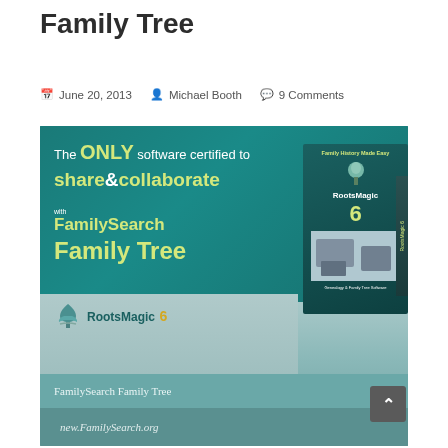Family Tree
June 20, 2013   Michael Booth   9 Comments
[Figure (illustration): RootsMagic 6 advertisement banner showing 'The ONLY software certified to share & collaborate with FamilySearch Family Tree' with RootsMagic 6 software box and logo, and steps at the bottom showing 'FamilySearch Family Tree' and 'new.FamilySearch.org']